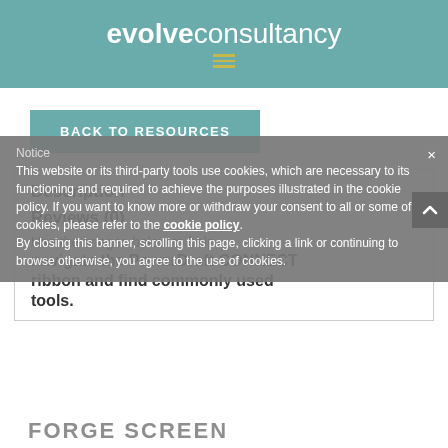[Figure (logo): Evolve Consultancy logo with hamburger menu on teal background]
BACK TO RESOURCES
Description
Reviews (0)
Use the images below to help navigate the PowerDraft CONNECT ribbon and find commonly used tools.
Notice
This website or its third-party tools use cookies, which are necessary to its functioning and required to achieve the purposes illustrated in the cookie policy. If you want to know more or withdraw your consent to all or some of the cookies, please refer to the cookie policy.
By closing this banner, scrolling this page, clicking a link or continuing to browse otherwise, you agree to the use of cookies.
FORGE SCREEN